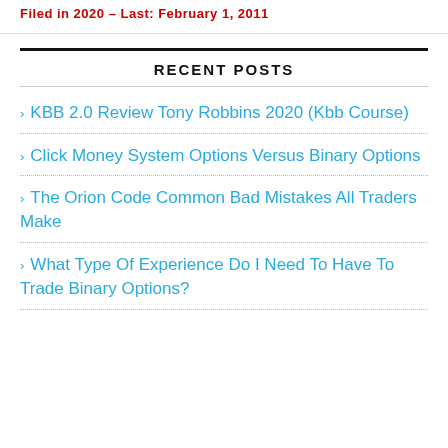Filed in 2020 - Last: February 1, 2011
RECENT POSTS
KBB 2.0 Review Tony Robbins 2020 (Kbb Course)
Click Money System Options Versus Binary Options
The Orion Code  Common Bad Mistakes All Traders Make
What Type Of Experience Do I Need To Have To Trade Binary Options?